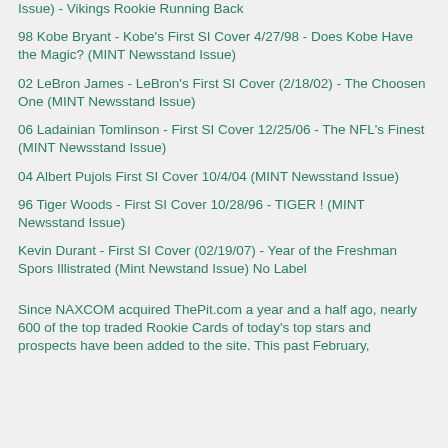Issue) - Vikings Rookie Running Back
98 Kobe Bryant - Kobe's First SI Cover 4/27/98 - Does Kobe Have the Magic? (MINT Newsstand Issue)
02 LeBron James - LeBron's First SI Cover (2/18/02) - The Choosen One (MINT Newsstand Issue)
06 Ladainian Tomlinson - First SI Cover 12/25/06 - The NFL's Finest (MINT Newsstand Issue)
04 Albert Pujols First SI Cover 10/4/04 (MINT Newsstand Issue)
96 Tiger Woods - First SI Cover 10/28/96 - TIGER ! (MINT Newsstand Issue)
Kevin Durant - First SI Cover (02/19/07) - Year of the Freshman Spors Illistrated (Mint Newstand Issue) No Label
Since NAXCOM acquired ThePit.com a year and a half ago, nearly 600 of the top traded Rookie Cards of today's top stars and prospects have been added to the site. This past February,